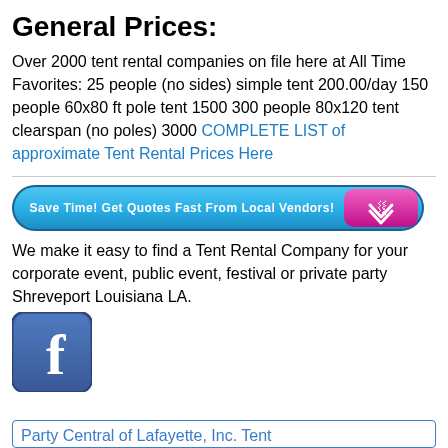General Prices:
Over 2000 tent rental companies on file here at All Time Favorites: 25 people (no sides) simple tent 200.00/day 150 people 60x80 ft pole tent 1500 300 people 80x120 tent clearspan (no poles) 3000 COMPLETE LIST of approximate Tent Rental Prices Here
[Figure (other): Blue pill-shaped CTA button with text 'Save Time! Get Quotes Fast From Local Vendors!' and a pink/magenta chevron button on the right]
We make it easy to find a Tent Rental Company for your corporate event, public event, festival or private party Shreveport Louisiana LA.
[Figure (logo): Facebook logo icon — rounded square with blue background and white 'f' letterform]
Party Central of Lafayette, Inc. Tent